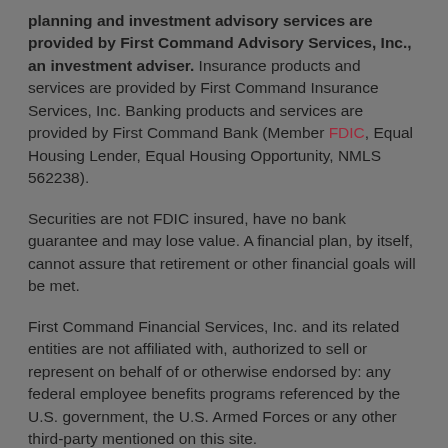planning and investment advisory services are provided by First Command Advisory Services, Inc., an investment adviser. Insurance products and services are provided by First Command Insurance Services, Inc. Banking products and services are provided by First Command Bank (Member FDIC, Equal Housing Lender, Equal Housing Opportunity, NMLS 562238).
Securities are not FDIC insured, have no bank guarantee and may lose value. A financial plan, by itself, cannot assure that retirement or other financial goals will be met.
First Command Financial Services, Inc. and its related entities are not affiliated with, authorized to sell or represent on behalf of or otherwise endorsed by: any federal employee benefits programs referenced by the U.S. government, the U.S. Armed Forces or any other third-party mentioned on this site.
In Europe, investment and insurance products and services are offered through First Command Europe Limited. First Command Europe Limited is a wholly owned subsidiary of First Command Financial Services, Inc. and is authorized and regulated by the Financial Conduct Authority. Certain products and services offered